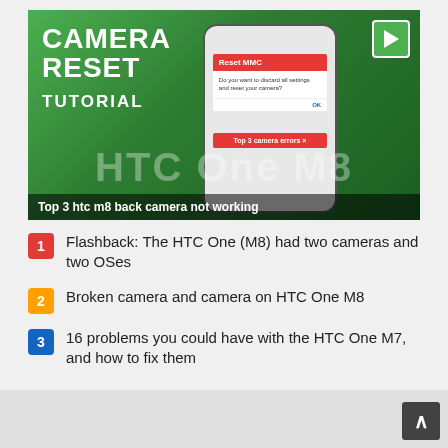[Figure (screenshot): Video thumbnail showing a smartphone (HTC One M8) with a camera reset tutorial. Green background with 'CAMERA RESET TUTORIAL' text in white on the left. A phone displays a dialog box with a red header. HTC One M8 watermark text visible. Caption overlay at bottom reads 'Top 3 htc m8 back camera not working'. Power icon logo in top right corner.]
Flashback: The HTC One (M8) had two cameras and two OSes
Broken camera and camera on HTC One M8
16 problems you could have with the HTC One M7, and how to fix them